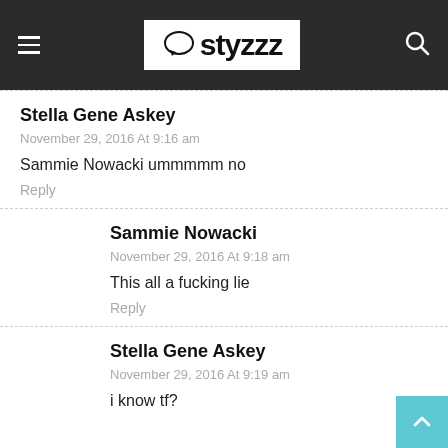ostyzzz
Stella Gene Askey
November 29, 2016 At 9:16 am
Sammie Nowacki ummmmm no
Reply
Sammie Nowacki
November 29, 2016 At 9:18 am
This all a fucking lie
Reply
Stella Gene Askey
November 29, 2016 At 9:19 am
i know tf?